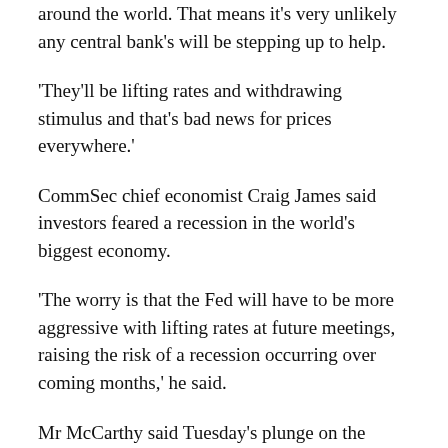around the world. That means it's very unlikely any central bank's will be stepping up to help.
'They'll be lifting rates and withdrawing stimulus and that's bad news for prices everywhere.'
CommSec chief economist Craig James said investors feared a recession in the world's biggest economy.
'The worry is that the Fed will have to be more aggressive with lifting rates at future meetings, raising the risk of a recession occurring over coming months,' he said.
Mr McCarthy said Tuesday's plunge on the Australian Securities Exchange was the worst since March 2020, when the World Health Organisation declared a Covid pandemic and a national lockdown was imposed in Australia.